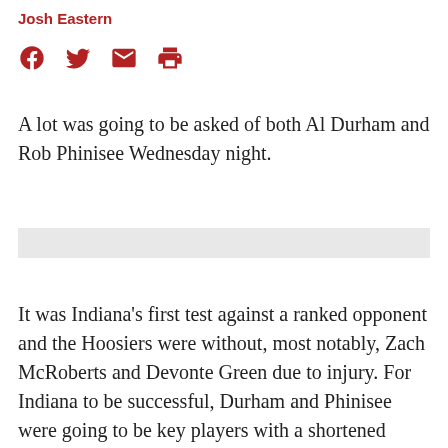Josh Eastern
[Figure (other): Social media sharing icons: Facebook, Twitter, Email, Print in red/crimson color]
A lot was going to be asked of both Al Durham and Rob Phinisee Wednesday night.
[Figure (other): Gray advertisement placeholder bar]
It was Indiana's first test against a ranked opponent and the Hoosiers were without, most notably, Zach McRoberts and Devonte Green due to injury. For Indiana to be successful, Durham and Phinisee were going to be key players with a shortened bench and Markus Howard, one of the best players in the Big